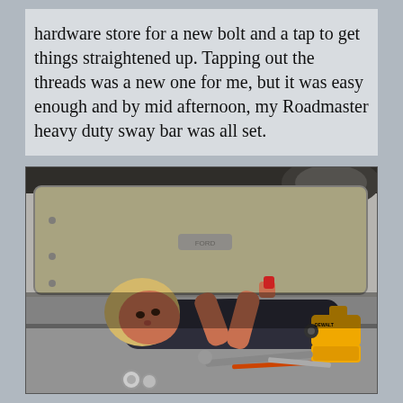hardware store for a new bolt and a tap to get things straightened up. Tapping out the threads was a new one for me, but it was easy enough and by mid afternoon, my Roadmaster heavy duty sway bar was all set.
[Figure (photo): A person lying on their back on the ground underneath a vehicle (RV or large truck), working on the undercarriage with tools. A yellow DeWalt cordless drill is visible to the right, along with various tools on the ground. The underside of the vehicle shows a large metal frame/tank component.]